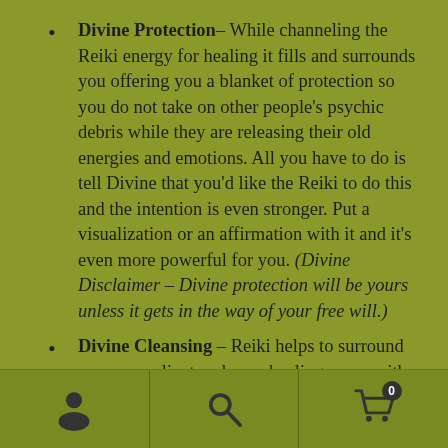Divine Protection – While channeling the Reiki energy for healing it fills and surrounds you offering you a blanket of protection so you do not take on other people's psychic debris while they are releasing their old energies and emotions.  All you have to do is tell Divine that you'd like the Reiki to do this and the intention is even stronger.  Put a visualization or an affirmation with it and it's even more powerful for you.  (Divine Disclaimer – Divine protection will be yours unless it gets in the way of your free will.)
Divine Cleansing – Reiki helps to surround you, your client and your healing space with cleansing Reiki!!  That means you and your space is clean and clear of other energies and debris if you choose it.
[Figure (other): Mobile navigation footer bar with three icons: user/account icon, search icon, and shopping cart icon with badge showing 0]